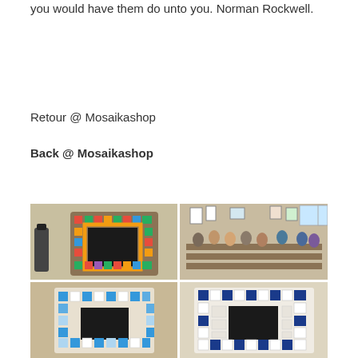you would have them do unto you. Norman Rockwell.
Retour @ Mosaikashop
Back @ Mosaikashop
[Figure (photo): A 2x2 grid of four mosaic workshop photos: top-left shows a colorful floral mosaic mirror frame with tools; top-right shows a busy workshop room with many people working at tables; bottom-left shows a blue and white mosaic mirror frame from above; bottom-right shows a white and blue checkered mosaic mirror frame.]